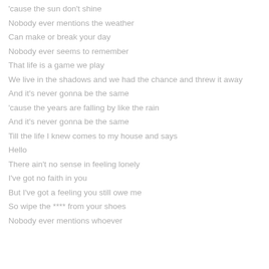'cause the sun don't shine
Nobody ever mentions the weather
Can make or break your day
Nobody ever seems to remember
That life is a game we play
We live in the shadows and we had the chance and threw it away
And it's never gonna be the same
'cause the years are falling by like the rain
And it's never gonna be the same
Till the life I knew comes to my house and says
Hello
There ain't no sense in feeling lonely
I've got no faith in you
But I've got a feeling you still owe me
So wipe the **** from your shoes
Nobody ever mentions whoever